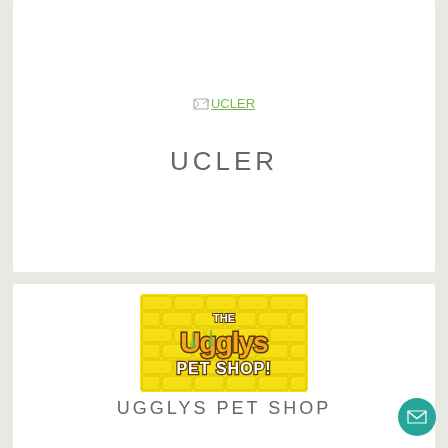[Figure (logo): Broken image placeholder showing 'UCLER' text link]
UCLER
[Figure (logo): The Ugglys Pet Shop logo on a yellow brick-pattern background with colorful dripping letters]
UGGLYS PET SHOP